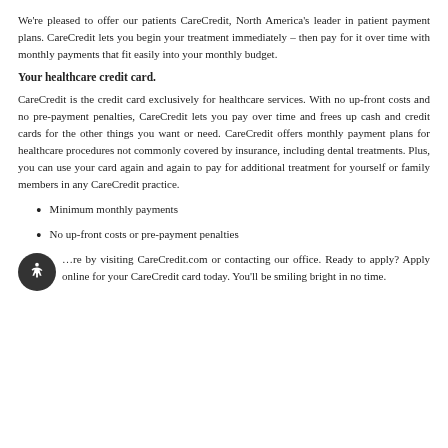We're pleased to offer our patients CareCredit, North America's leader in patient payment plans. CareCredit lets you begin your treatment immediately – then pay for it over time with monthly payments that fit easily into your monthly budget.
Your healthcare credit card.
CareCredit is the credit card exclusively for healthcare services. With no up-front costs and no pre-payment penalties, CareCredit lets you pay over time and frees up cash and credit cards for the other things you want or need. CareCredit offers monthly payment plans for healthcare procedures not commonly covered by insurance, including dental treatments. Plus, you can use your card again and again to pay for additional treatment for yourself or family members in any CareCredit practice.
Minimum monthly payments
No up-front costs or pre-payment penalties
...more by visiting CareCredit.com or contacting our office. Ready to apply? Apply online for your CareCredit card today. You'll be smiling bright in no time.